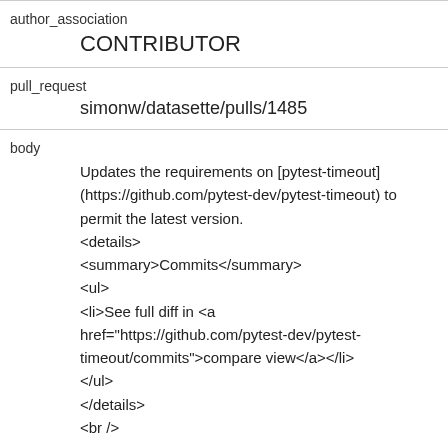| author_association | CONTRIBUTOR |
| pull_request | simonw/datasette/pulls/1485 |
| body | Updates the requirements on [pytest-timeout](https://github.com/pytest-dev/pytest-timeout) to permit the latest version.
<details>
<summary>Commits</summary>
<ul>
<li>See full diff in <a href="https://github.com/pytest-dev/pytest-timeout/commits">compare view</a></li>
</ul>
</details>
<br /> |